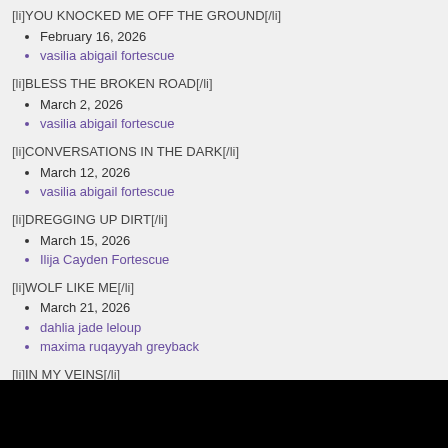[li]YOU KNOCKED ME OFF THE GROUND[/li]
• February 16, 2026
• vasilia abigail fortescue
[li]BLESS THE BROKEN ROAD[/li]
• March 2, 2026
• vasilia abigail fortescue
[li]CONVERSATIONS IN THE DARK[/li]
• March 12, 2026
• vasilia abigail fortescue
[li]DREGGING UP DIRT[/li]
• March 15, 2026
• Ilija Cayden Fortescue
[li]WOLF LIKE ME[/li]
• March 21, 2026
• dahlia jade leloup
• maxima ruqayyah greyback
[li]IN MY VEINS[/li]
• March 23, 2026
• MARIA CAMILA DA SILVA POVOA
[li]...